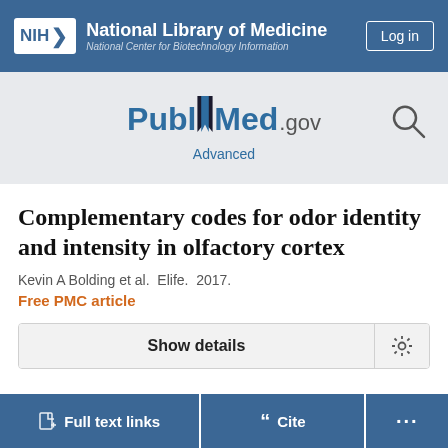NIH National Library of Medicine National Center for Biotechnology Information
[Figure (logo): PubMed.gov logo with search icon]
Complementary codes for odor identity and intensity in olfactory cortex
Kevin A Bolding et al. Elife. 2017.
Free PMC article
Show details
Full text links
Cite